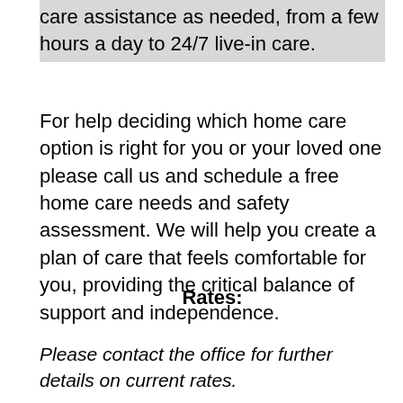care assistance as needed, from a few hours a day to 24/7 live-in care.
For help deciding which home care option is right for you or your loved one please call us and schedule a free home care needs and safety assessment. We will help you create a plan of care that feels comfortable for you, providing the critical balance of support and independence.
Rates:
Please contact the office for further details on current rates.